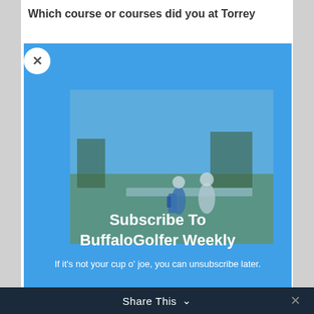Which course or courses did you at Torrey
[Figure (screenshot): Blue overlay modal with a video thumbnail showing two golfers on a golf course, with subscription prompt for BuffaloGolfer Weekly]
Subscribe To BuffaloGolfer Weekly
If it's not your cup o' joe, you can unsubscribe later.
Share This ∨